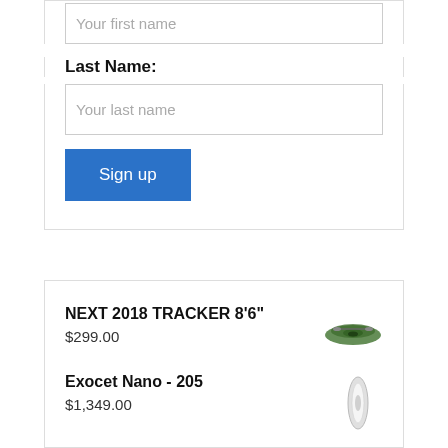[Figure (screenshot): Text input field with placeholder 'Your first name']
Last Name:
[Figure (screenshot): Text input field with placeholder 'Your last name']
[Figure (screenshot): Blue 'Sign up' button]
NEXT 2018 TRACKER 8'6"
$299.00
[Figure (photo): Small green kayak product image]
Exocet Nano - 205
$1,349.00
[Figure (photo): Small white kayak product image]